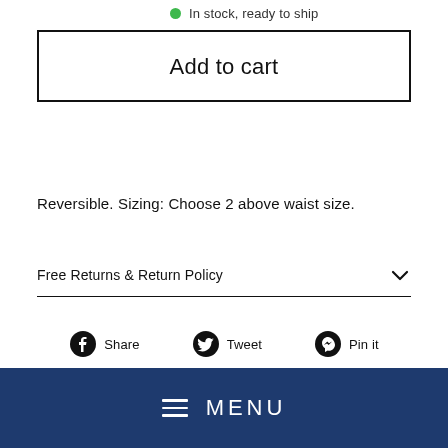In stock, ready to ship
Add to cart
Reversible. Sizing: Choose 2 above waist size.
Free Returns & Return Policy
Share
Tweet
Pin it
MENU